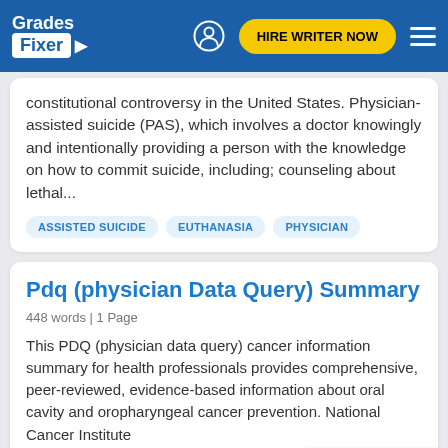Grades Fixer | HIRE WRITER NOW
constitutional controversy in the United States. Physician-assisted suicide (PAS), which involves a doctor knowingly and intentionally providing a person with the knowledge on how to commit suicide, including; counseling about lethal...
ASSISTED SUICIDE
EUTHANASIA
PHYSICIAN
Pdq (physician Data Query) Summary
448 words | 1 Page
This PDQ (physician data query) cancer information summary for health professionals provides comprehensive, peer-reviewed, evidence-based information about oral cavity and oropharyngeal cancer prevention. National Cancer Institute